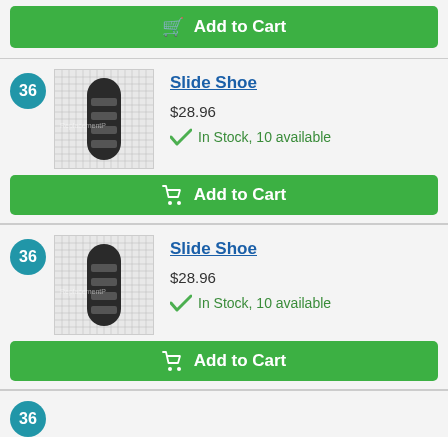[Figure (other): Green Add to Cart button (partially visible at top of page)]
[Figure (photo): Product listing item #36: Slide Shoe, showing a black slide shoe part on a grid background, priced at $28.96, In Stock 10 available, with Add to Cart button]
[Figure (photo): Product listing item #36 (duplicate): Slide Shoe, showing same black slide shoe part on a grid background, priced at $28.96, In Stock 10 available, with Add to Cart button]
[Figure (other): Partially visible item #36 badge at bottom of page]